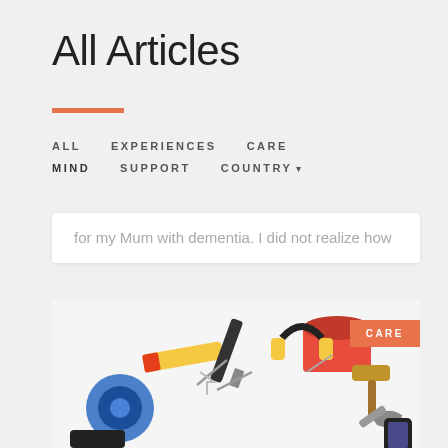All Articles
ALL   EXPERIENCES   CARE   MIND   SUPPORT   COUNTRY
for my Mum with dementia. I did not realize how
[Figure (photo): Overhead flat-lay photo of various tools including a tape measure, paint brush, paint roller, red paint can, blue tape roll, nails, screws, hammer, wrench, headphones, and other hardware items on a white background. An orange 'CARE' badge appears in the top-right corner of the image.]